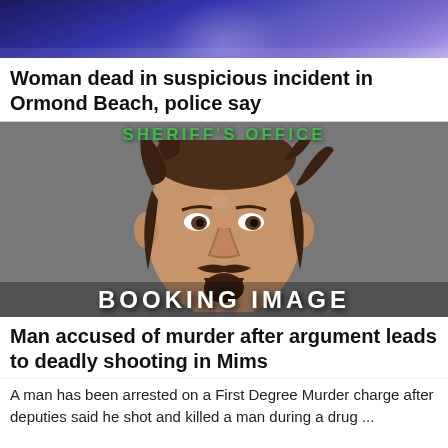[Figure (photo): Partial news article image at top, blue/purple toned photo]
Woman dead in suspicious incident in Ormond Beach, police say
[Figure (photo): Booking/mugshot image of a man with long hair and goatee, from Sheriff's Office. Text overlays read 'SHERIFF'S OFFICE' at top and 'BOOKING IMAGE' at bottom.]
Man accused of murder after argument leads to deadly shooting in Mims
A man has been arrested on a First Degree Murder charge after deputies said he shot and killed a man during a drug ...